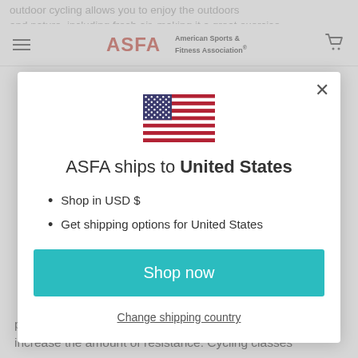outdoor cycling allows you to enjoy the outdoors and nature, including fresh air, making it a great exercise
[Figure (screenshot): ASFA (American Sports & Fitness Association) website navigation bar with hamburger menu, ASFA logo, and cart icon]
[Figure (illustration): US flag icon centered in modal]
ASFA ships to United States
Shop in USD $
Get shipping options for United States
Shop now
Change shipping country
participants may also stand up on the bike to increase the amount of resistance. Cycling classes